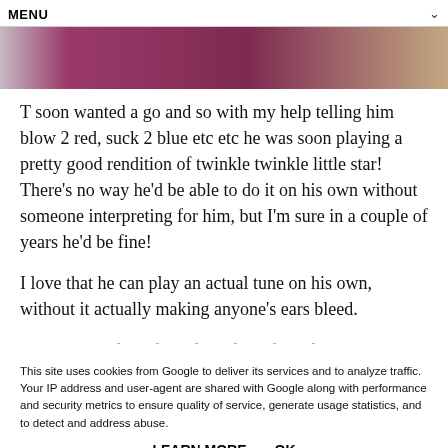MENU
[Figure (photo): Partial photo showing fabric in magenta/maroon and a beige background, cropped at top]
T soon wanted a go and so with my help telling him blow 2 red, suck 2 blue etc etc he was soon playing a pretty good rendition of twinkle twinkle little star!  There's no way he'd be able to do it on his own without someone interpreting for him, but I'm sure in a couple of years he'd be fine!
I love that he can play an actual tune on his own, without it actually making anyone's ears bleed.
This site uses cookies from Google to deliver its services and to analyze traffic. Your IP address and user-agent are shared with Google along with performance and security metrics to ensure quality of service, generate usage statistics, and to detect and address abuse.
LEARN MORE    OK